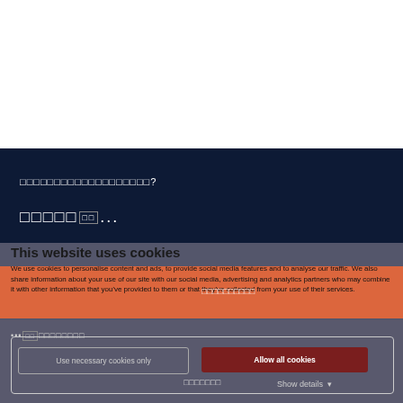[Figure (screenshot): White area at top of page representing a website background]
[Figure (screenshot): Dark navy website background band with unreadable non-Latin script text heading and loading text]
This website uses cookies
We use cookies to personalise content and ads, to provide social media features and to analyse our traffic. We also share information about your use of our site with our social media, advertising and analytics partners who may combine it with other information that you've provided to them or that they've collected from your use of their services.
[Figure (screenshot): Orange/coral highlight band overlaying middle of cookie consent dialog with unreadable text]
Use necessary cookies only
Allow all cookies
Show details